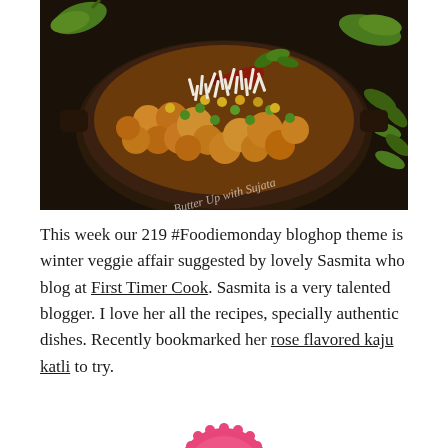[Figure (photo): A dark cast iron pan filled with spiced cauliflower (gobi) sabzi topped with grated coconut, green peas, corn kernels, a dried red chili, and fresh herbs. Green chilies and curry leaves visible around the pan on a dark background. Cursive watermark reads 'Butter Up with Sujata'.]
This week our 219 #Foodiemonday bloghop theme is winter veggie affair suggested by lovely Sasmita who blog at First Timer Cook. Sasmita is a very talented blogger. I love her all the recipes, specially authentic dishes. Recently bookmarked her rose flavored kaju katli to try.
[Figure (logo): Partial pink scalloped circular badge/logo visible at bottom of page.]